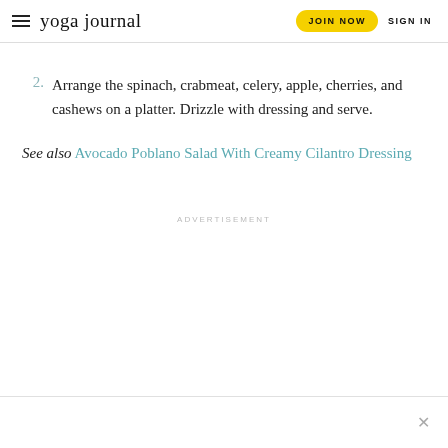yoga journal | JOIN NOW | SIGN IN
2. Arrange the spinach, crabmeat, celery, apple, cherries, and cashews on a platter. Drizzle with dressing and serve.
See also Avocado Poblano Salad With Creamy Cilantro Dressing
ADVERTISEMENT